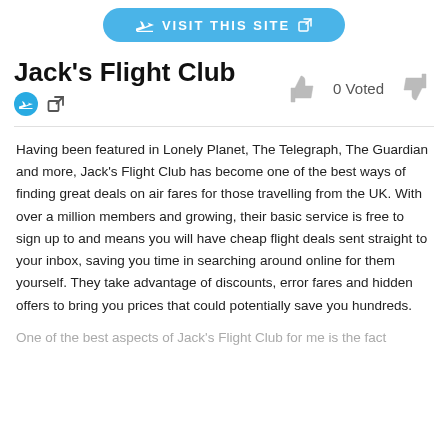[Figure (other): Blue rounded button with airplane icon and external link icon, text: VISIT THIS SITE]
Jack's Flight Club
[Figure (other): Blue circle logo icon and external link icon next to title, plus thumbs up / thumbs down voting icons with '0 Voted' text]
Having been featured in Lonely Planet, The Telegraph, The Guardian and more, Jack's Flight Club has become one of the best ways of finding great deals on air fares for those travelling from the UK. With over a million members and growing, their basic service is free to sign up to and means you will have cheap flight deals sent straight to your inbox, saving you time in searching around online for them yourself. They take advantage of discounts, error fares and hidden offers to bring you prices that could potentially save you hundreds.
One of the best aspects of Jack's Flight Club for me is the fact